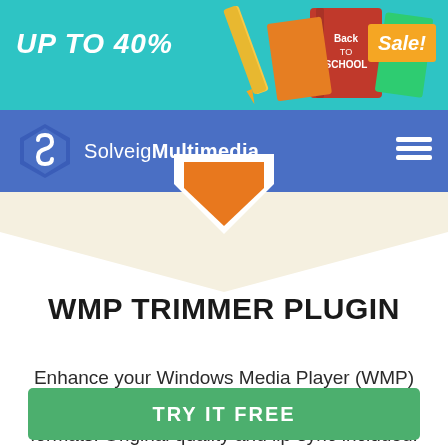[Figure (illustration): Back to school sale banner with teal background, school supplies, books, pencils, and 'Sale!' badge. Text reads 'UP TO 40%']
SolveigMultimedia
WMP TRIMMER PLUGIN
Enhance your Windows Media Player (WMP) functionality and edit a bunch of popular file formats. Original quality and lip-sync included!
TRY IT FREE